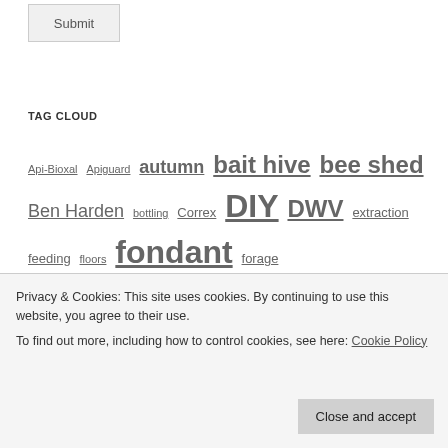Submit
TAG CLOUD
Api-Bioxal Apiguard autumn bait hive bee shed Ben Harden bottling Correx DIY DWV extraction feeding floors fondant forage foundationless frames grafting health hive honey mating mites Nucs OSR oxalic acid poly queen queen cells queen rearing review roof SHB soft set spring
Privacy & Cookies: This site uses cookies. By continuing to use this website, you agree to their use.
To find out more, including how to control cookies, see here: Cookie Policy
Close and accept